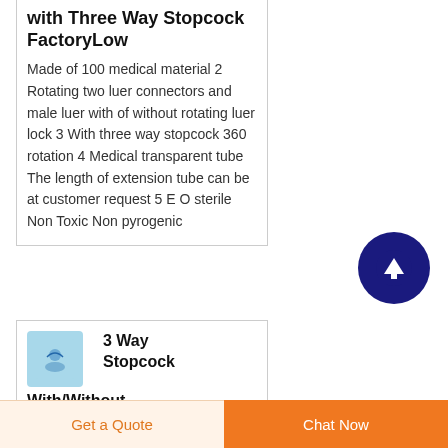with Three Way Stopcock FactoryLow
Made of 100 medical material 2 Rotating two luer connectors and male luer with of without rotating luer lock 3 With three way stopcock 360 rotation 4 Medical transparent tube The length of extension tube can be at customer request 5 E O sterile Non Toxic Non pyrogenic
[Figure (other): Dark blue circular scroll-to-top button with upward arrow icon]
[Figure (photo): Small thumbnail image of a 3-way stopcock medical device on blue background]
3 Way Stopcock With/Without
Get a Quote
Chat Now